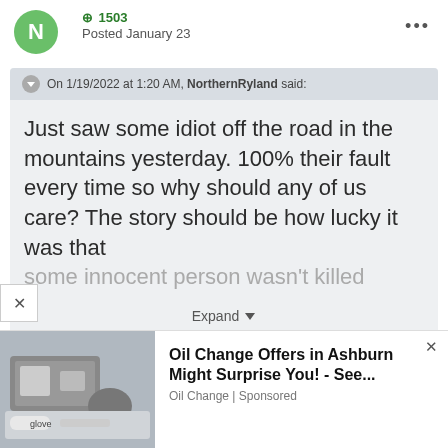[Figure (illustration): Green circular avatar with white letter N]
⊕ 1503
Posted January 23
...
On 1/19/2022 at 1:20 AM, NorthernRyland said:
Just saw some idiot off the road in the mountains yesterday. 100% their fault every time so why should any of us care? The story should be how lucky it was that some innocent person wasn't killed
Expand
[Figure (photo): Ad photo showing oil change or automotive work with gloved hands]
Oil Change Offers in Ashburn Might Surprise You! - See...
Oil Change | Sponsored